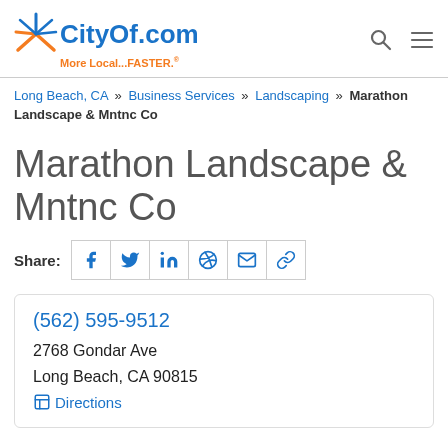[Figure (logo): CityOf.com logo with starburst icon and tagline 'More Local...FASTER.']
Long Beach, CA » Business Services » Landscaping » Marathon Landscape & Mntnc Co
Marathon Landscape & Mntnc Co
Share: [Facebook] [Twitter] [LinkedIn] [Pinterest] [Email] [Link]
(562) 595-9512
2768 Gondar Ave
Long Beach, CA 90815
Directions